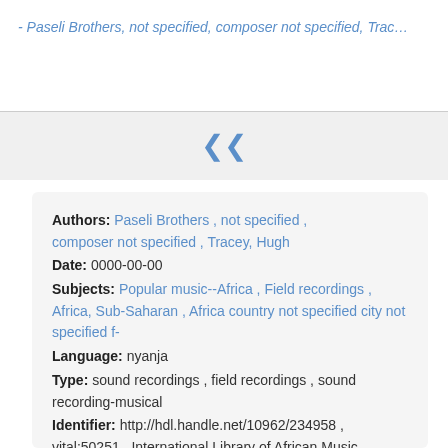- Paseli Brothers, not specified, composer not specified, Trac…
Authors: Paseli Brothers , not specified , composer not specified , Tracey, Hugh Date: 0000-00-00 Subjects: Popular music--Africa , Field recordings , Africa, Sub-Saharan , Africa country not specified city not specified f- Language: nyanja Type: sound recordings , field recordings , sound recording-musical Identifier: http://hdl.handle.net/10962/234958 , vital:50251 , International Library of African Music, Rhodes University, Makhanda, South Africa , Hugh Tracey Commercial Records, Rhodes University, Makhanda, South Africa , CR2836 , ABC11794 Description: English translation of title: 'Women from Chileka'